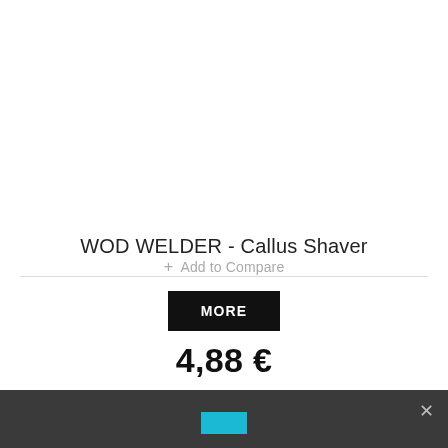WOD WELDER - Callus Shaver
+ Add to Compare
MORE
4,88 €
[Figure (screenshot): Dark footer bar with close (×) button and a small cyan/teal rectangle button]